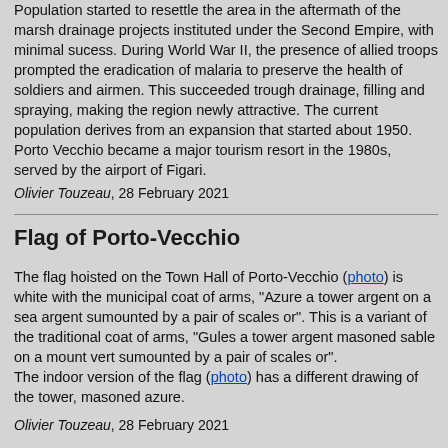Population started to resettle the area in the aftermath of the marsh drainage projects instituted under the Second Empire, with minimal sucess. During World War II, the presence of allied troops prompted the eradication of malaria to preserve the health of soldiers and airmen. This succeeded trough drainage, filling and spraying, making the region newly attractive. The current population derives from an expansion that started about 1950. Porto Vecchio became a major tourism resort in the 1980s, served by the airport of Figari.
Olivier Touzeau, 28 February 2021
Flag of Porto-Vecchio
The flag hoisted on the Town Hall of Porto-Vecchio (photo) is white with the municipal coat of arms, "Azure a tower argent on a sea argent sumounted by a pair of scales or". This is a variant of the traditional coat of arms, "Gules a tower argent masoned sable on a mount vert sumounted by a pair of scales or". The indoor version of the flag (photo) has a different drawing of the tower, masoned azure.
Olivier Touzeau, 28 February 2021